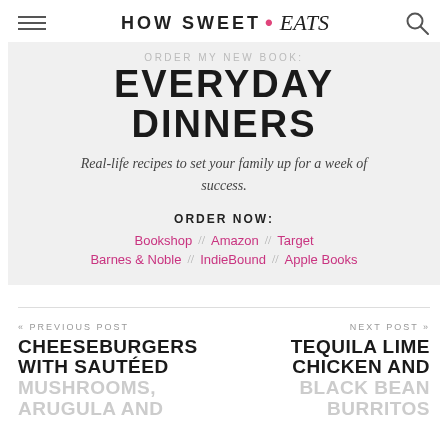HOW SWEET • eats
ORDER MY NEW BOOK:
EVERYDAY DINNERS
Real-life recipes to set your family up for a week of success.
ORDER NOW:
Bookshop // Amazon // Target
Barnes & Noble // IndieBound // Apple Books
« PREVIOUS POST
CHEESEBURGERS WITH SAUTÉED MUSHROOMS, ARUGULA AND
NEXT POST »
TEQUILA LIME CHICKEN AND BLACK BEAN BURRITOS